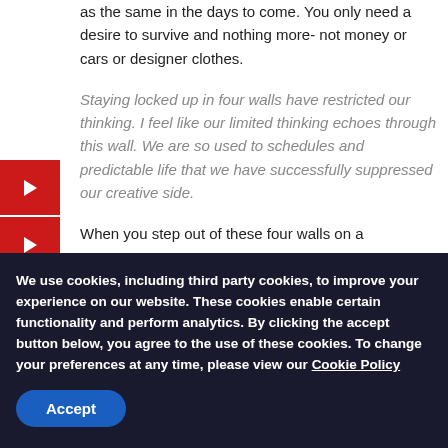as the same in the days to come. You only need a desire to survive and nothing more- not money or cars or designer clothes.
Staying locked up in four walls have restricted our thinking. I feel like our limited thinking echoes through this wall. We are so used to schedules and predictable life that we have successfully suppressed our creative side.
When you step out of these four walls on a
We use cookies, including third party cookies, to improve your experience on our website. These cookies enable certain functionality and perform analytics. By clicking the accept button below, you agree to the use of these cookies. To change your preferences at any time, please view our Cookie Policy
Accept